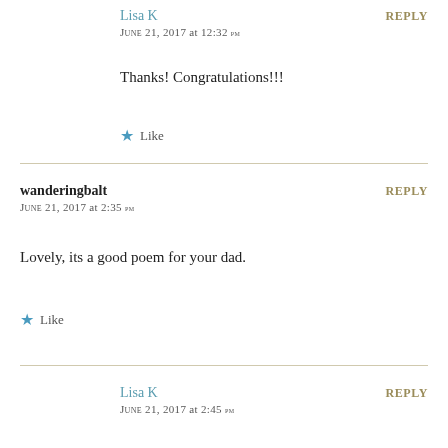Lisa K
June 21, 2017 at 12:32 pm
REPLY
Thanks! Congratulations!!!
Like
wanderingbalt
June 21, 2017 at 2:35 pm
REPLY
Lovely, its a good poem for your dad.
Like
Lisa K
June 21, 2017 at 2:45 pm
REPLY